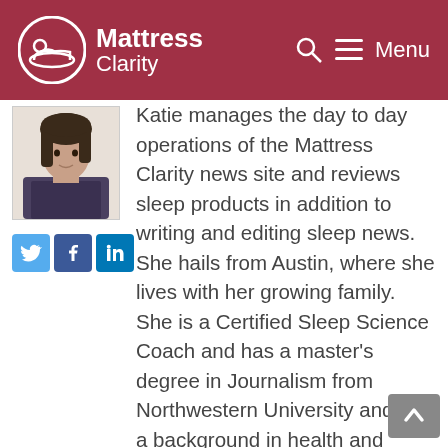Mattress Clarity — Menu
[Figure (photo): Author headshot photo of Katie, a woman with dark hair]
[Figure (infographic): Social media icons: Twitter (blue bird), Facebook (blue f), LinkedIn (blue in)]
Katie manages the day to day operations of the Mattress Clarity news site and reviews sleep products in addition to writing and editing sleep news. She hails from Austin, where she lives with her growing family. She is a Certified Sleep Science Coach and has a master's degree in Journalism from Northwestern University and has a background in health and science content. Her work can be found in print and online publications like Discover